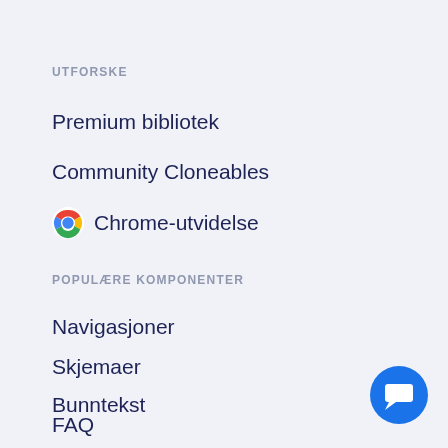UTFORSKE
Premium bibliotek
Community Cloneables
Chrome-utvidelse
POPULÆRE KOMPONENTER
Navigasjoner
Skjemaer
Bunntekst
FAQ
[Figure (infographic): Blue circular chat/message button icon in bottom right corner]